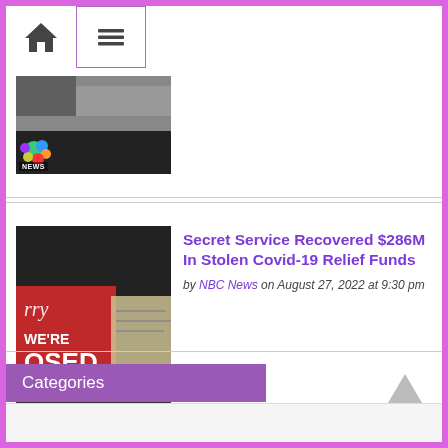Home | Menu navigation
[Figure (screenshot): Thumbnail image of a news video with NBC News badge, showing an office/store interior]
[Figure (screenshot): Thumbnail image of a news video showing a closed store sign ('Sorry We're Closed') with NBC News badge]
Secret Service Recovered $286M In Stolen Covid-19 Relief Funds
by NBC News on August 27, 2022 at 9:30 pm
Categories